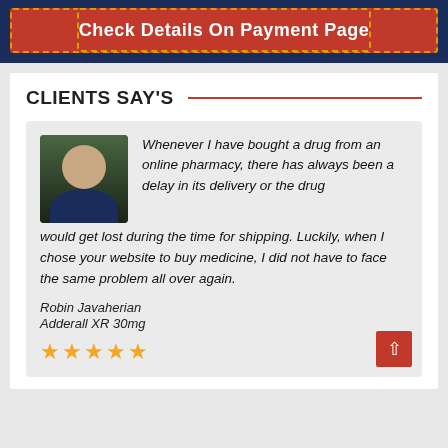[Figure (other): Orange/red button banner with dashed gold border reading 'Check Details On Payment Page' on dark navy background]
CLIENTS SAY'S
Whenever I have bought a drug from an online pharmacy, there has always been a delay in its delivery or the drug would get lost during the time for shipping. Luckily, when I chose your website to buy medicine, I did not have to face the same problem all over again.
Robin Javaherian
Adderall XR 30mg
★★★★★